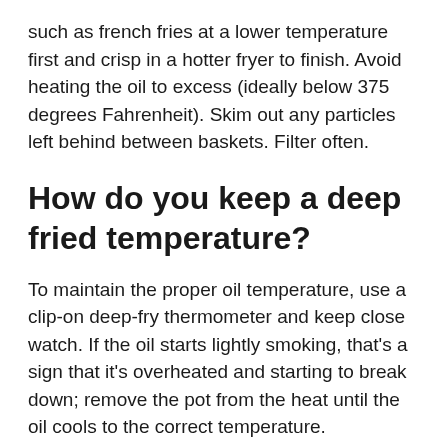such as french fries at a lower temperature first and crisp in a hotter fryer to finish. Avoid heating the oil to excess (ideally below 375 degrees Fahrenheit). Skim out any particles left behind between baskets. Filter often.
How do you keep a deep fried temperature?
To maintain the proper oil temperature, use a clip-on deep-fry thermometer and keep close watch. If the oil starts lightly smoking, that's a sign that it's overheated and starting to break down; remove the pot from the heat until the oil cools to the correct temperature.
What kind of thermometer